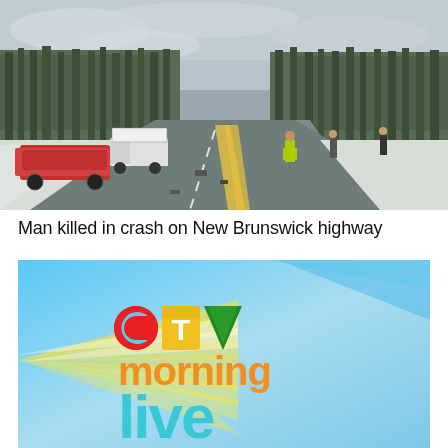[Figure (photo): A rural two-lane highway in winter, with snow on the sides. On the left side of the road, a red vehicle or machinery is overturned/on its side, and a white truck is visible. Several people including one in a hi-vis yellow jacket are visible in the background on the road.]
Man killed in crash on New Brunswick highway
[Figure (logo): CTV Morning Live logo on a bright blue/yellow sunburst background. The CTV logo appears with red circle C, yellow T, and green triangle V. Below it says 'morning' in orange bold text and 'live' in large teal/blue text partially visible.]